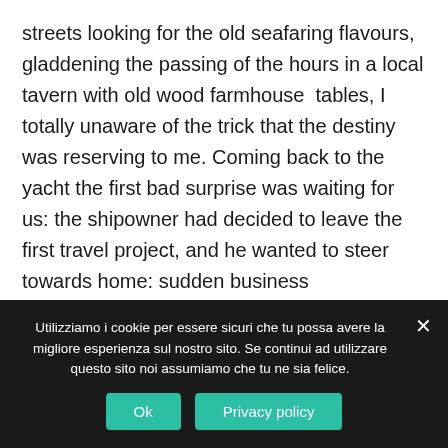streets looking for the old seafaring flavours,  gladdening the passing of the hours in a local tavern with old wood farmhouse  tables, I totally unaware of the trick that the destiny was reserving to me. Coming back to the yacht the first bad surprise was waiting for us: the shipowner had decided to leave the first travel project, and he wanted to steer towards home: sudden business commitments prevent him from carrying on that pleasure cruise.
Utilizziamo i cookie per essere sicuri che tu possa avere la migliore esperienza sul nostro sito. Se continui ad utilizzare questo sito noi assumiamo che tu ne sia felice.